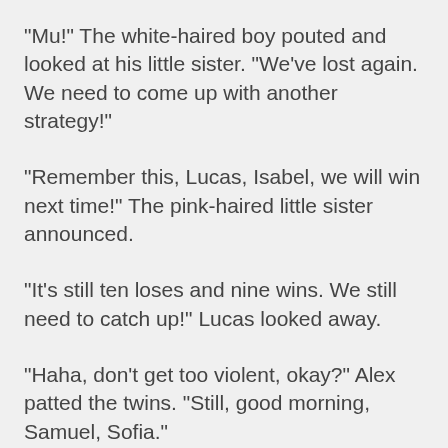"Mu!" The white-haired boy pouted and looked at his little sister. "We've lost again. We need to come up with another strategy!"
"Remember this, Lucas, Isabel, we will win next time!" The pink-haired little sister announced.
"It's still ten loses and nine wins. We still need to catch up!" Lucas looked away.
"Haha, don't get too violent, okay?" Alex patted the twins. "Still, good morning, Samuel, Sofia."